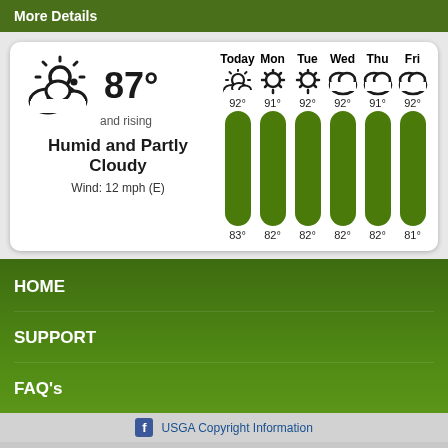More Details
[Figure (infographic): Weather widget showing current conditions: partly cloudy icon, 87° and rising, Humid and Partly Cloudy, Wind: 12 mph (E), with 6-day forecast for Today through Fri with high/low temperatures and weather icons and green temperature bars]
HOME
SUPPORT
FAQ's
USGA Copyright Information
Back to the top of Coral Ridge Country Club